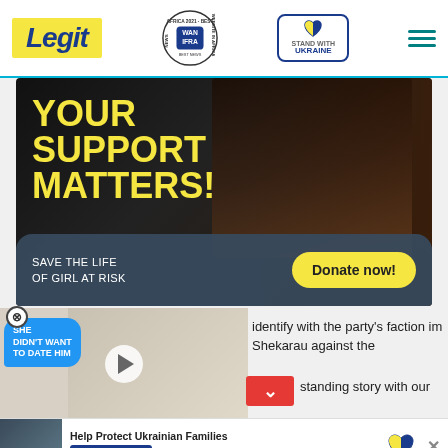Legit | WAN-IFRA 2021 Best News Website in Africa | Stand with Ukraine
[Figure (photo): Advertisement banner: 'YOUR SUPPORT MATTERS!' in yellow bold text on dark background with photo of person. Bottom section says 'SAVE THE LIFE OF GIRL AT RISK' with a yellow 'Donate now!' button.]
[Figure (photo): Video ad overlay showing couple (woman in white dress, man in tuxedo) with blue speech bubble saying 'SHE DIDN'T WANT TO DATE HIM' and a play button. Close X button in circle on left.]
identify with the party's faction im Shekarau against the
standing story with our
[Figure (photo): Bottom banner: 'Help Protect Ukrainian Families' with Ukraine heart logo and 'DONATE NOW' blue button, with photo of people in winter.]